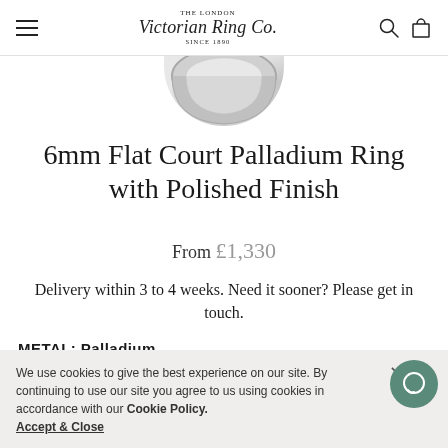The London Victorian Ring Co. Since 1890
[Figure (photo): Partial view of a palladium ring from above, showing its polished flat court profile against a light background]
6mm Flat Court Palladium Ring with Polished Finish
From £1,330
Delivery within 3 to 4 weeks. Need it sooner? Please get in touch.
METAL: Palladium
[Figure (illustration): Four metal swatch circles: palladium (silver-gray), gold (yellow-gold), gray, and rose gold]
We use cookies to give the best experience on our site. By continuing to use our site you agree to us using cookies in accordance with our Cookie Policy.
Accept & Close